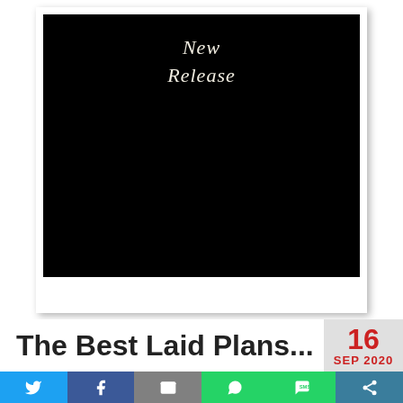[Figure (photo): Polaroid-style frame with black photo area containing text 'New Release' in a light italic font on black background]
The Best Laid Plans...
16 SEP 2020
[Figure (infographic): Social sharing bar with Twitter, Facebook, Email, WhatsApp, SMS, and Share icons on colored backgrounds]